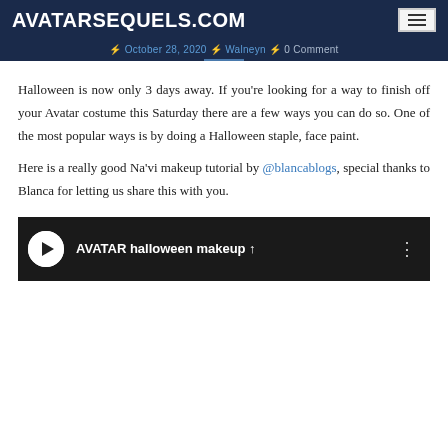AVATARSEQUELS.COM
October 28, 2020 · Walneyn · 0 Comment
Halloween is now only 3 days away. If you're looking for a way to finish off your Avatar costume this Saturday there are a few ways you can do so. One of the most popular ways is by doing a Halloween staple, face paint.
Here is a really good Na'vi makeup tutorial by @blancablogs, special thanks to Blanca for letting us share this with you.
[Figure (screenshot): Video thumbnail showing 'AVATAR halloween makeup' title with a circular avatar icon on dark background]